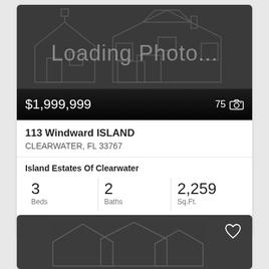[Figure (photo): Loading photo placeholder for real estate listing showing house outline silhouette on dark gray background with price $1,999,999 and 75 photos indicator]
$1,999,999
75
113 Windward ISLAND
CLEARWATER, FL 33767
Island Estates Of Clearwater
3 Beds
2 Baths
2,259 Sq.Ft.
RE/MAX Marketing Specialists
[Figure (photo): Second real estate listing card with dark gray background showing partial house outline, with heart/favorite icon in top right corner]